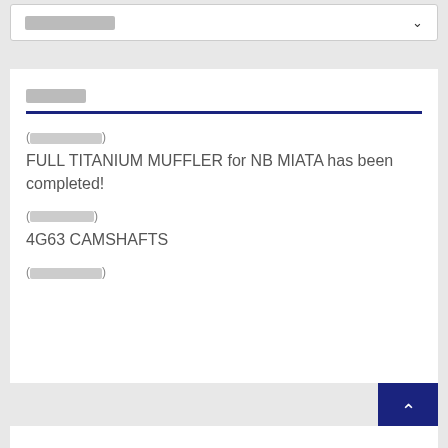[Figure (screenshot): Dropdown selector box with redacted text and a chevron arrow]
█████
(████████)
FULL TITANIUM MUFFLER for NB MIATA has been completed!
(███████)
4G63 CAMSHAFTS
(████████)